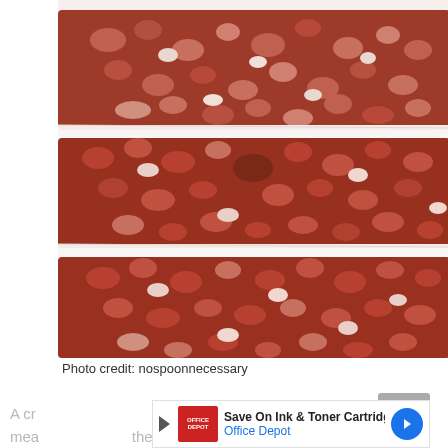[Figure (photo): Stack of three red velvet rice crispy treat bars separated by white parchment paper, showing a crumbly reddish-brown texture with chocolate chips, photographed close-up against a light background]
Photo credit: nospoonnecessary
A cr[ispy, crunchy, chocola]ty mea[l prep treat ...] the
[Figure (other): Advertisement overlay: Save On Ink & Toner Cartridges - Office Depot, with red Office Depot logo and blue directional arrow icon]